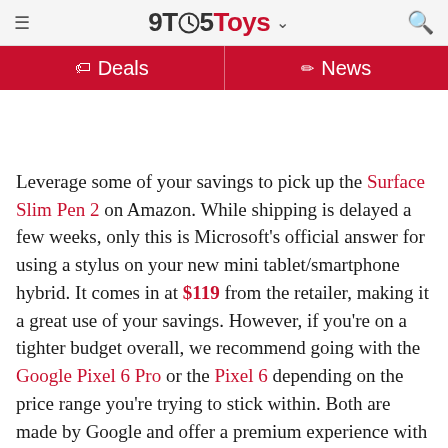9TO5Toys
Deals   News
Leverage some of your savings to pick up the Surface Slim Pen 2 on Amazon. While shipping is delayed a few weeks, only this is Microsoft's official answer for using a stylus on your new mini tablet/smartphone hybrid. It comes in at $119 from the retailer, making it a great use of your savings. However, if you're on a tighter budget overall, we recommend going with the Google Pixel 6 Pro or the Pixel 6 depending on the price range you're trying to stick within. Both are made by Google and offer a premium experience with prices as low as $600.